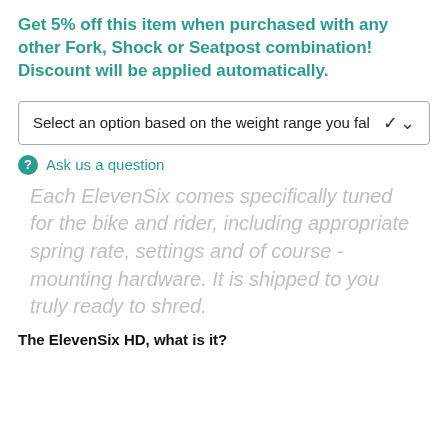Get 5% off this item when purchased with any other Fork, Shock or Seatpost combination! Discount will be applied automatically.
Select an option based on the weight range you fal
Ask us a question
Each ElevenSix comes specifically tuned for the bike and rider, including appropriate spring rate, settings and of course - mounting hardware. It is shipped to you truly ready to shred.
The ElevenSix HD, what is it?